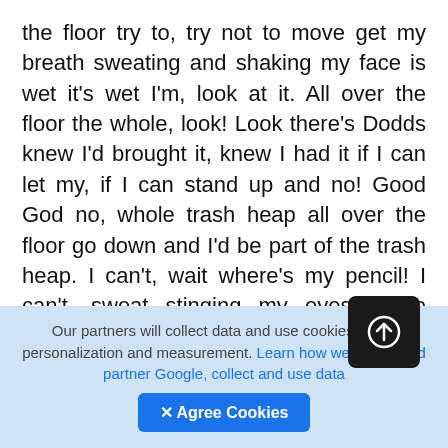the floor try to, try not to move get my breath sweating and shaking my face is wet it's wet I'm, look at it. All over the floor the whole, look! Look there's Dodds knew I'd brought it, knew I had it if I can let my, if I can stand up and no! Good God no, whole trash heap all over the floor go down and I'd be part of the trash heap. I can't, wait where's my pencil! I can't, sweat stinging my eyes whole thing's a blur out there hardly see across the room maybe I, spilled some papers on the bed here got to find it, got to find my pencil don't write it down I'll lose it maybe already lost it might be under the, find a towel yes clean myself up before I no, good God look at it! How could, all going backward braced myself against that heap like a pillar of salt whole
Our partners will collect data and use cookies for ad personalization and measurement. Learn how we and our ad partner Google, collect and use data
✕ Agree Cookies